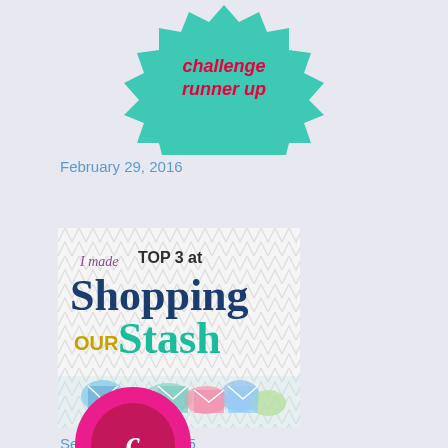[Figure (illustration): Challenge runner up badge with teal zigzag star burst shape and red italic text 'challenge runner up']
February 29, 2016
[Figure (illustration): Shopping Our Stash badge showing 'I made TOP 3 at Shopping OUR Stash' with chevron background and paper crafting embellishments at bottom]
September 24, 2015
[Figure (illustration): Partially visible pink/magenta circular badge at bottom of page]